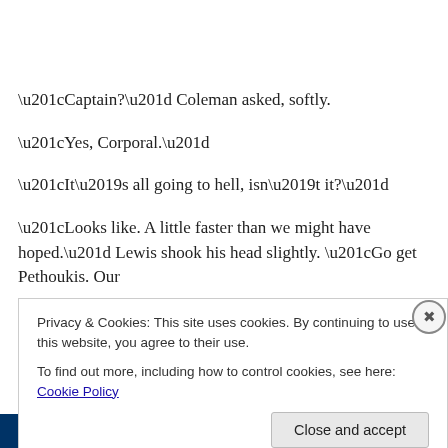“Captain?” Coleman asked, softly.
“Yes, Corporal.”
“It’s all going to hell, isn’t it?”
“Looks like. A little faster than we might have hoped.” Lewis shook his head slightly. “Go get Pethoukis. Our departure time just got moved up.”
Privacy & Cookies: This site uses cookies. By continuing to use this website, you agree to their use.
To find out more, including how to control cookies, see here: Cookie Policy